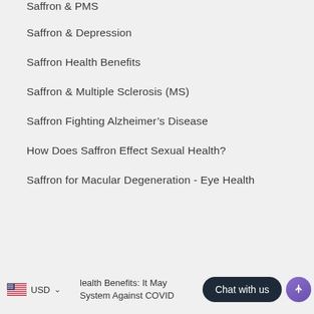Saffron & PMS
Saffron & Depression
Saffron Health Benefits
Saffron & Multiple Sclerosis (MS)
Saffron Fighting Alzheimer's Disease
How Does Saffron Effect Sexual Health?
Saffron for Macular Degeneration - Eye Health
USD  lealth Benefits: It May...System Against COVID...  Chat with us